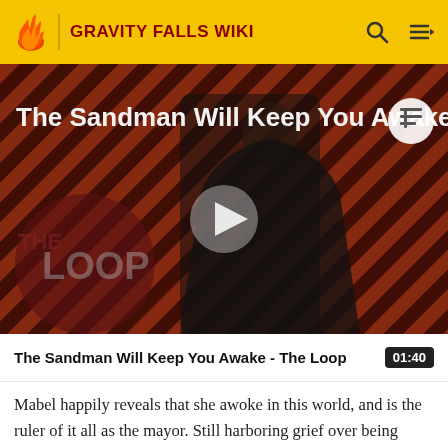GRAVITY FALLS WIKI
[Figure (screenshot): Video thumbnail showing a dark-cloaked figure standing against a red and black diagonal stripe background with 'THE LOOP' text overlay and a play button in the center. Title overlay reads 'The Sandman Will Keep You Awake.']
The Sandman Will Keep You Awake - The Loop  01:40
Mabel happily reveals that she awoke in this world, and is the ruler of it all as the mayor. Still harboring grief over being forced to grow up and leave Gravity Falls, possibly